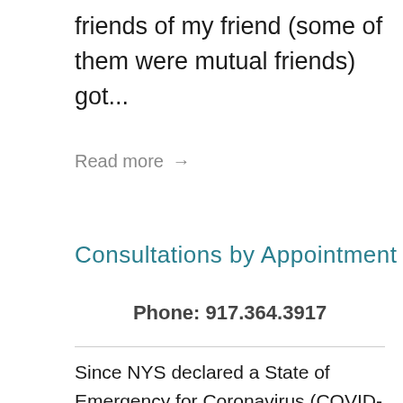friends of my friend (some of them were mutual friends) got...
Read more →
Consultations by Appointment
Phone: 917.364.3917
Since NYS declared a State of Emergency for Coronavirus (COVID-19), my patients and I have been working together via phone and video.